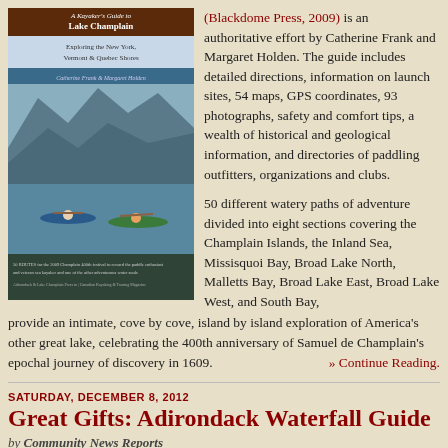[Figure (photo): Book cover of 'A Kayaker's Guide to Lake Champlain: Exploring the New York, Vermont & Quebec Shores' by Catherine Frank & Margaret Holden, showing two kayakers on the lake with mountains in background.]
(Blackdome Press, 2009) is an authoritative effort by Catherine Frank and Margaret Holden. The guide includes detailed directions, information on launch sites, 54 maps, GPS coordinates, 93 photographs, safety and comfort tips, a wealth of historical and geological information, and directories of paddling outfitters, organizations and clubs.
50 different watery paths of adventure divided into eight sections covering the Champlain Islands, the Inland Sea, Missisquoi Bay, Broad Lake North, Malletts Bay, Broad Lake East, Broad Lake West, and South Bay, provide an intimate, cove by cove, island by island exploration of America's other great lake, celebrating the 400th anniversary of Samuel de Champlain's epochal journey of discovery in 1609.
» Continue Reading.
SATURDAY, DECEMBER 8, 2012
Great Gifts: Adirondack Waterfall Guide
by Community News Reports